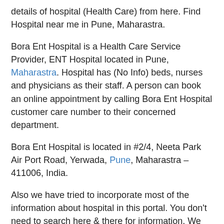details of hospital (Health Care) from here. Find Hospital near me in Pune, Maharastra.
Bora Ent Hospital is a Health Care Service Provider, ENT Hospital located in Pune, Maharastra. Hospital has (No Info) beds, nurses and physicians as their staff. A person can book an online appointment by calling Bora Ent Hospital customer care number to their concerned department.
Bora Ent Hospital is located in #2/4, Neeta Park Air Port Road, Yerwada, Pune, Maharastra – 411006, India.
Also we have tried to incorporate most of the information about hospital in this portal. You don't need to search here & there for information. We have entered as much as possible information about Bora Ent Hospital. But before visiting